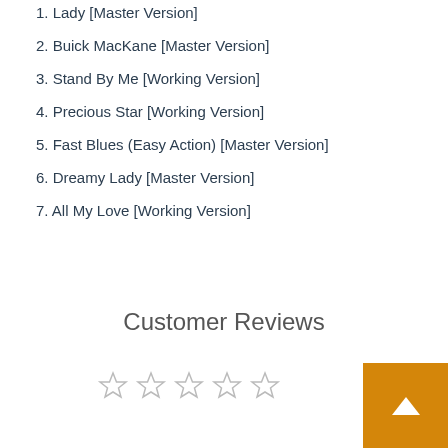1. Lady [Master Version]
2. Buick MacKane [Master Version]
3. Stand By Me [Working Version]
4. Precious Star [Working Version]
5. Fast Blues (Easy Action) [Master Version]
6. Dreamy Lady [Master Version]
7. All My Love [Working Version]
Customer Reviews
[Figure (other): Five empty star rating icons in a row]